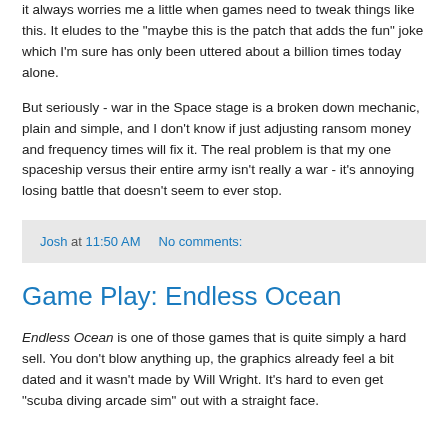it always worries me a little when games need to tweak things like this. It eludes to the "maybe this is the patch that adds the fun" joke which I'm sure has only been uttered about a billion times today alone.
But seriously - war in the Space stage is a broken down mechanic, plain and simple, and I don't know if just adjusting ransom money and frequency times will fix it. The real problem is that my one spaceship versus their entire army isn't really a war - it's annoying losing battle that doesn't seem to ever stop.
Josh at 11:50 AM    No comments:
Game Play: Endless Ocean
Endless Ocean is one of those games that is quite simply a hard sell. You don't blow anything up, the graphics already feel a bit dated and it wasn't made by Will Wright. It's hard to even get "scuba diving arcade sim" out with a straight face.